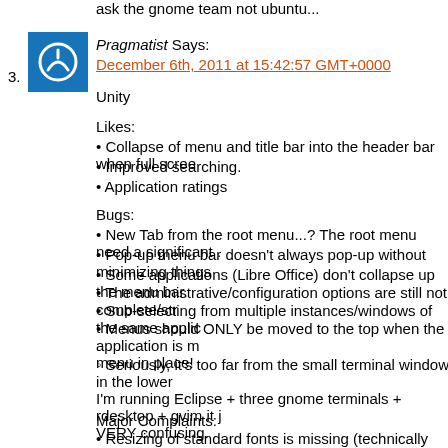ask the gnome team not ubuntu...
3. Pragmatist Says:
December 6th, 2011 at 15:42:57 GMT+0000
Unity
Likes:
• Collapse of menu and title bar into the header bar when full scree
• Improved searching.
• Application ratings
Bugs:
• New Tab from the root menu...? The root menu need a significant .
• Pop-up menu bar doesn't always pop-up without minimizing things
• Some applications (Libre Office) don't collapse up the menu bar.
• The administrative/configuration options are still not complete/str
• Sub-selecting from multiple instances/windows of the same applic
• Menus should ONLY be moved to the top when the application is m menu in place!
◦ Seriously, it's too far from the small terminal window in the lower I'm running Eclipse + three gnome terminals + rdesktop + gvim it j VERY confusing.
Major Complaints:
• Resizing of standard fonts is missing (technically this appears in th Gnome3 along with a bunch of other settings which should be availa least the advanced settings applet should be installed by default)
• Pop-up menu bar on left side of screen